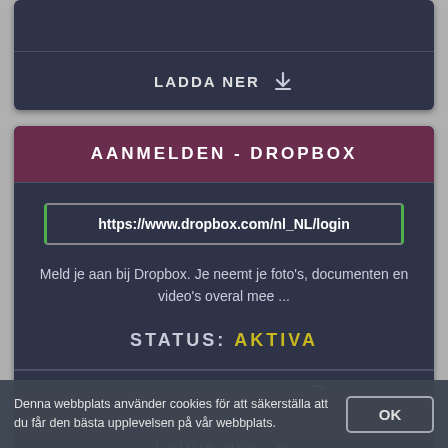LADDA NER
AANMELDEN - DROPBOX
https://www.dropbox.com/nl_NL/login
Meld je aan bij Dropbox. Je neemt je foto's, documenten en video's overal mee ...
STATUS: AKTIVA
FÖRHANDSVISNING
LADDA NER
Denna webbplats använder cookies för att säkerställa att du får den bästa upplevelsen på vår webbplats.